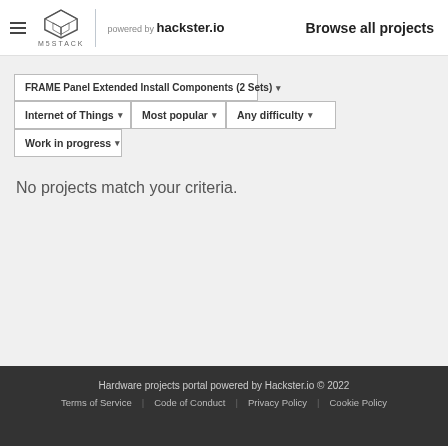M5STACK powered by hackster.io  Browse all projects
FRAME Panel Extended Install Components (2 Sets) ▾
Internet of Things ▾   Most popular ▾   Any difficulty ▾
Work in progress ▾
No projects match your criteria.
Hardware projects portal powered by Hackster.io © 2022
Terms of Service   Code of Conduct   Privacy Policy   Cookie Policy